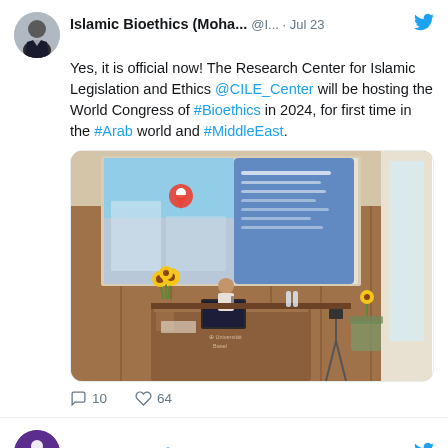[Figure (screenshot): Tweet from Islamic Bioethics (Moha...) @I... Jul 23 with text about Research Center for Islamic Legislation and Ethics hosting World Congress of Bioethics in 2024, with a photo of a speaker at a podium with sunflowers. Below it shows 10 comments and 64 likes.]
Yes, it is official now! The Research Center for Islamic Legislation and Ethics @CILE_Center will be hosting the World Congress of #Bioethics in 2024, for first time in the #Arab world and #MiddleEast.
[Figure (photo): Person speaking at a wooden podium in a large hall, with sunflowers on the table, a large screen showing a map/location, Universität Basel logo on podium.]
CILE Center @CILE_Center · Aug 7